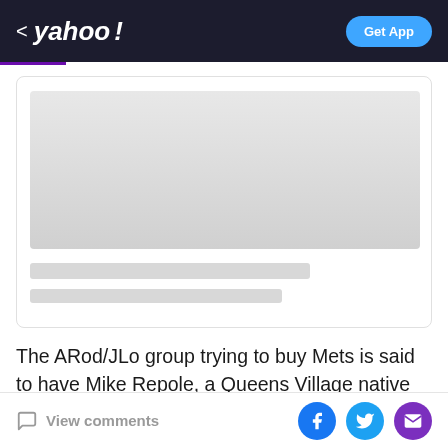< yahoo! | Get App
[Figure (screenshot): Loading placeholder card with grey image area and two grey title bars]
The ARod/JLo group trying to buy Mets is said to have Mike Repole, a Queens Village native who went to Holy Cross in Flushing and St. John’s, aboard as partner. Repole has “real money.” Founded Glaceau (Vitaminwater),
View comments | Facebook | Twitter | Email